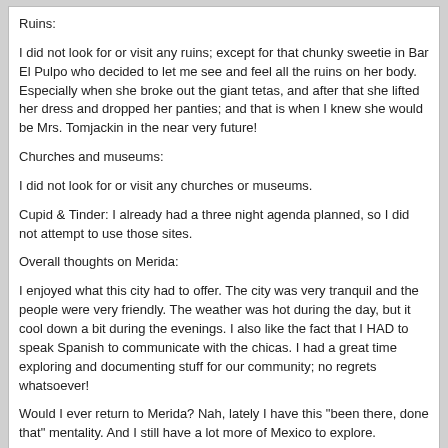Ruins:

I did not look for or visit any ruins; except for that chunky sweetie in Bar El Pulpo who decided to let me see and feel all the ruins on her body. Especially when she broke out the giant tetas, and after that she lifted her dress and dropped her panties; and that is when I knew she would be Mrs. Tomjackin in the near very future!

Churches and museums:

I did not look for or visit any churches or museums.

Cupid & Tinder: I already had a three night agenda planned, so I did not attempt to use those sites.

Overall thoughts on Merida:

I enjoyed what this city had to offer. The city was very tranquil and the people were very friendly. The weather was hot during the day, but it cool down a bit during the evenings. I also like the fact that I HAD to speak Spanish to communicate with the chicas. I had a great time exploring and documenting stuff for our community; no regrets whatsoever!

Would I ever return to Merida? Nah, lately I have this "been there, done that" mentality. And I still have a lot more of Mexico to explore.

As always, just my dos pinche pesos of course!
John Clayton
01-27-20, 22:10

... And I still have a lot more of Mexico to explore.

As always, just my dos pinche pesos of course!You have the strength of 10 men!